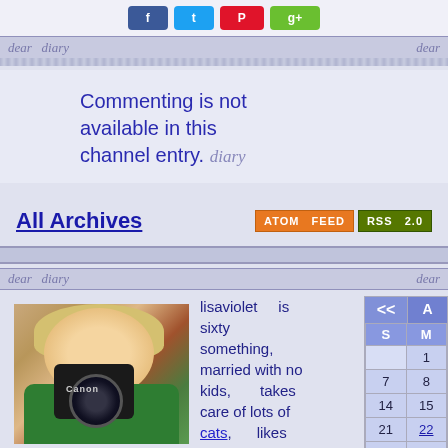Social share buttons (Facebook, Twitter, Pinterest, Google+)
dear diary    dear
Commenting is not available in this channel entry.   diary
All Archives
ATOM FEED   RSS 2.0
[Figure (photo): Woman holding a Canon camera up to her face, blonde hair, wearing green top]
lisaviolet is sixty something, married with no kids, takes care of lots of cats, likes
[Figure (table-as-image): Partial calendar widget showing S M columns with rows 1, 7 8, 14 15, 21 22, 28 29]